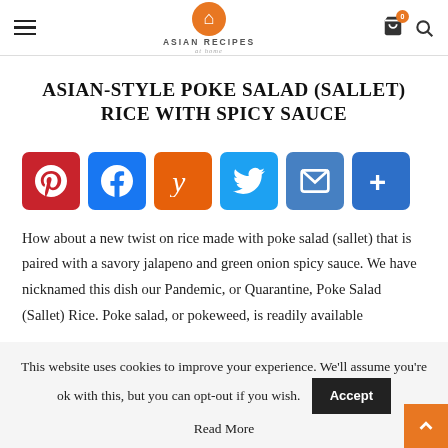ASIAN RECIPES at home
ASIAN-STYLE POKE SALAD (SALLET) RICE WITH SPICY SAUCE
[Figure (infographic): Social share buttons: Pinterest, Facebook, Yummly, Twitter, Email, More]
How about a new twist on rice made with poke salad (sallet) that is paired with a savory jalapeno and green onion spicy sauce. We have nicknamed this dish our Pandemic, or Quarantine, Poke Salad (Sallet) Rice. Poke salad, or pokeweed, is readily available
This website uses cookies to improve your experience. We'll assume you're ok with this, but you can opt-out if you wish.
Read More